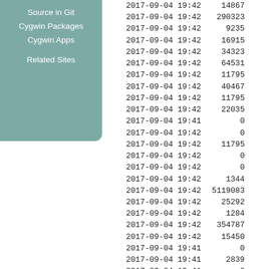Source in Git
Cygwin Packages
Cygwin Apps
Related Sites
| date | value |
| --- | --- |
| 2017-09-04 19:42 | 14867 |
| 2017-09-04 19:42 | 290323 |
| 2017-09-04 19:42 | 9235 |
| 2017-09-04 19:42 | 16915 |
| 2017-09-04 19:42 | 34323 |
| 2017-09-04 19:42 | 64531 |
| 2017-09-04 19:42 | 11795 |
| 2017-09-04 19:42 | 40467 |
| 2017-09-04 19:42 | 11795 |
| 2017-09-04 19:42 | 22035 |
| 2017-09-04 19:41 | 0 |
| 2017-09-04 19:42 | 0 |
| 2017-09-04 19:42 | 11795 |
| 2017-09-04 19:42 | 0 |
| 2017-09-04 19:42 | 0 |
| 2017-09-04 19:42 | 1344 |
| 2017-09-04 19:42 | 5119083 |
| 2017-09-04 19:42 | 25292 |
| 2017-09-04 19:42 | 1284 |
| 2017-09-04 19:42 | 354787 |
| 2017-09-04 19:42 | 15450 |
| 2017-09-04 19:41 | 0 |
| 2017-09-04 19:41 | 2839 |
| 2017-09-04 19:41 | 0 |
| 2017-09-04 19:41 | 0 |
| 2017-09-04 19:41 | 0 |
| 2017-09-04 19:41 | 7931 |
| 2017-09-04 19:41 | 0 |
| 2017-09-04 19:41 | 0 |
| 2017-09-04 19:41 | 2696 |